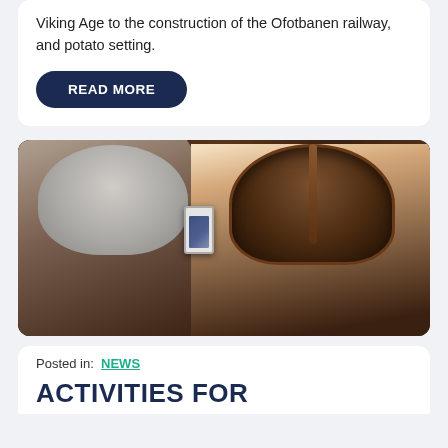Viking Age to the construction of the Ofotbanen railway, and potato setting.
READ MORE
[Figure (photo): Two children indoors in dim light; one wearing a grey beanie photographing the other, who is wearing a Viking helmet and medieval costume and smiling.]
Posted in:  NEWS
ACTIVITIES FOR